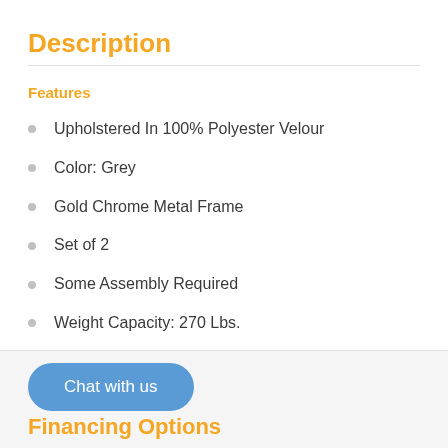Description
Features
Upholstered In 100% Polyester Velour
Color: Grey
Gold Chrome Metal Frame
Set of 2
Some Assembly Required
Weight Capacity: 270 Lbs.
+ View more
Chat with us
Financing Options